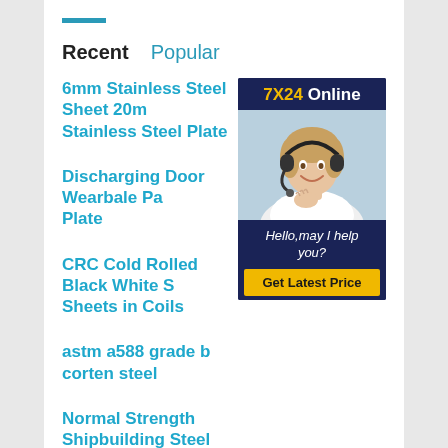Recent   Popular
6mm Stainless Steel Sheet 20m Stainless Steel Plate
Discharging Door Wearbale Pa Plate
CRC Cold Rolled Black White S Sheets in Coils
astm a588 grade b corten steel
Normal Strength Shipbuilding Steel Plate A B C D
hr coil hot rolled steel coil price hot rolled steel plate
[Figure (photo): Customer service representative wearing a headset, smiling. Overlay shows '7X24 Online' header, 'Hello, may I help you?' text, and a 'Get Latest Price' yellow button.]